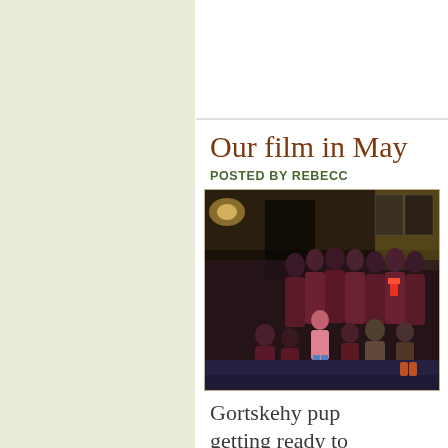Our film in May
POSTED BY REBECCA
[Figure (photo): Group of Gortskehy school pupils in dark maroon uniforms gathered inside what appears to be a cinema lobby, some kneeling in front, some standing behind, getting ready to watch a film.]
Gortskehy pup getting ready to into the ci